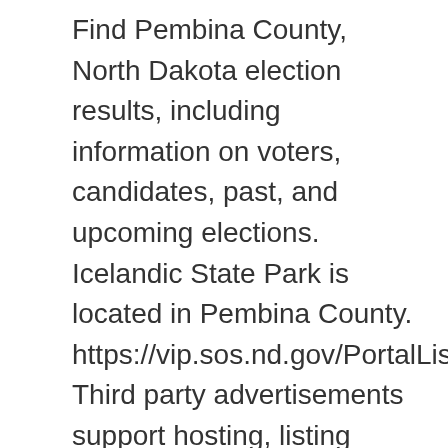Find Pembina County, North Dakota election results, including information on voters, candidates, past, and upcoming elections. Icelandic State Park is located in Pembina County. https://vip.sos.nd.gov/PortalList.aspx Third party advertisements support hosting, listing verification, updates, and site maintenance. See election results, a county-by-county map and more for the North Dakota Presidential election on Nov. 3, 2020. Median real estate property taxes paid for housing units with mortgages in 2017: $1,145 (1.0%) ... Pembina County historical area-adjusted tornado activity is significantly below North Dakota state average. From Ballotpedia Find out